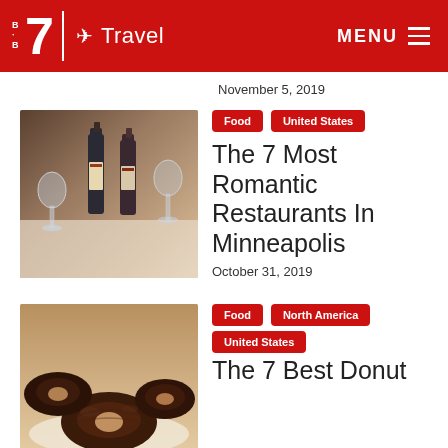B·7 Travel MENU
November 5, 2019
[Figure (photo): Photo of wine bottles and glasses on a restaurant table]
Food  United States
The 7 Most Romantic Restaurants In Minneapolis
October 31, 2019
[Figure (photo): Photo of chocolate frosted donuts on a plate]
Food  North America  United States
The 7 Best Donut